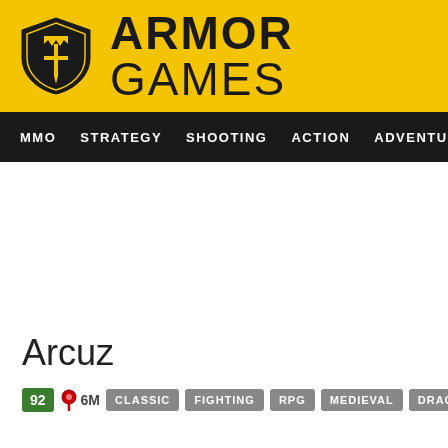[Figure (logo): Armor Games logo: yellow banner with shield icon and bold text ARMOR GAMES]
MMO  STRATEGY  SHOOTING  ACTION  ADVENTURE  P
Arcuz
92  6M  CLASSIC  FIGHTING  RPG  MEDIEVAL  DRAGON